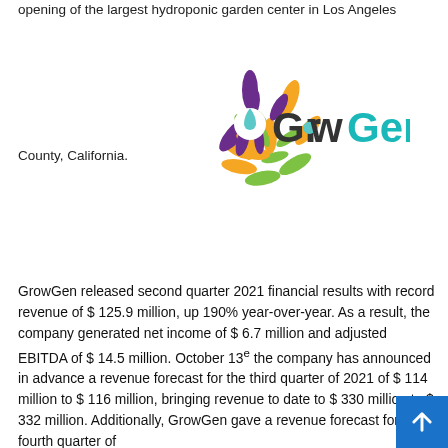opening of the largest hydroponic garden center in Los Angeles
County, California.
[Figure (logo): GrowGen company logo with colorful flower/leaf emblem and teal/purple lettering]
GrowGen released second quarter 2021 financial results with record revenue of $ 125.9 million, up 190% year-over-year. As a result, the company generated net income of $ 6.7 million and adjusted EBITDA of $ 14.5 million. October 13e the company has announced in advance a revenue forecast for the third quarter of 2021 of $ 114 million to $ 116 million, bringing revenue to date to $ 330 million to $ 332 million. Additionally, GrowGen gave a revenue forecast for the fourth quarter of